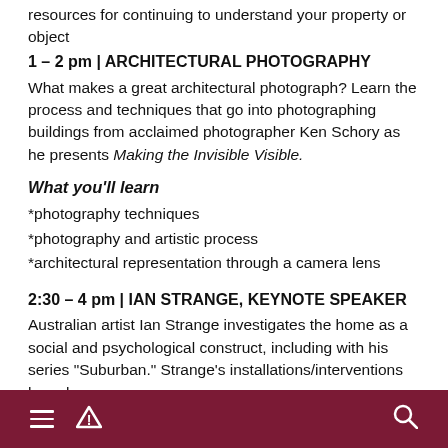resources for continuing to understand your property or object
1 – 2 pm  |  ARCHITECTURAL PHOTOGRAPHY
What makes a great architectural photograph? Learn the process and techniques that go into photographing buildings from acclaimed photographer Ken Schory as he presents Making the Invisible Visible.
What you'll learn
*photography techniques
*photography and artistic process
*architectural representation through a camera lens
2:30 – 4 pm  |  IAN STRANGE, KEYNOTE SPEAKER
Australian artist Ian Strange investigates the home as a social and psychological construct, including with his series "Suburban." Strange's installations/interventions have been